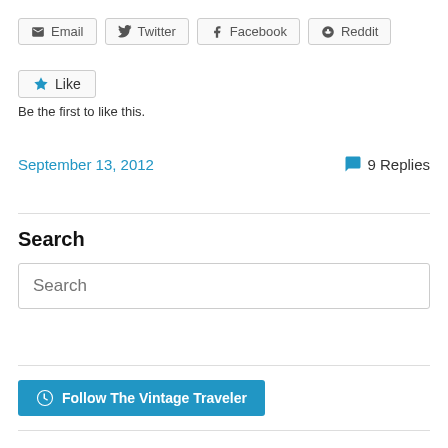[Figure (infographic): Row of social share buttons: Email, Twitter, Facebook, Reddit]
[Figure (infographic): Like button with blue star icon]
Be the first to like this.
September 13, 2012
9 Replies
Search
Search
[Figure (infographic): Follow The Vintage Traveler button with WordPress icon]